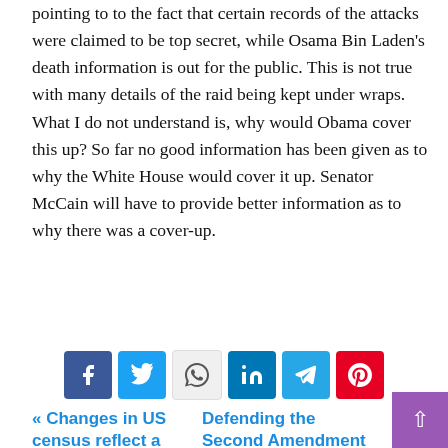pointing to to the fact that certain records of the attacks were claimed to be top secret, while Osama Bin Laden's death information is out for the public. This is not true with many details of the raid being kept under wraps. What I do not understand is, why would Obama cover this up? So far no good information has been given as to why the White House would cover it up. Senator McCain will have to provide better information as to why there was a cover-up.
[Figure (other): Social share buttons: Facebook, Twitter, WhatsApp, LinkedIn, Telegram, Pinterest]
« Changes in US census reflect a changing society
Defending the Second Amendment »